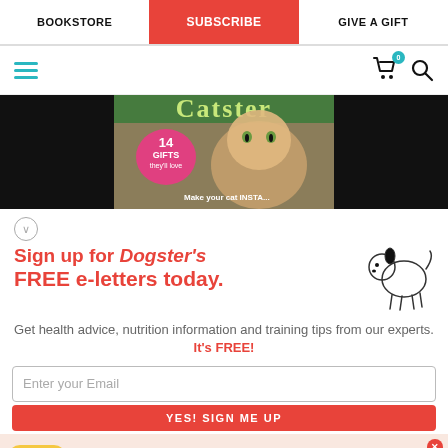BOOKSTORE | SUBSCRIBE | GIVE A GIFT
[Figure (screenshot): Mobile website navigation row with hamburger menu icon in teal, cart icon with badge showing 0, and search icon]
[Figure (photo): Catster magazine cover showing kitten, text: 14 GIFTS they'll love, hiding in the closet, Make your cat INSTA]
Sign up for Dogster's FREE e-letters today.
Get health advice, nutrition information and training tips from our experts. It's FREE!
[Figure (illustration): Simple line drawing of a small dog]
Enter your Email
YES! SIGN ME UP
[Figure (screenshot): McDonald's advertisement banner: buy one breakfast sandwich, get one free. Only in the app. Valid for product of equal or lesser value. Limited time only at participating McDonald's. Valid today. Excludes $1 $2 $3 Dollar Menu. Visit McD app for details. Download and registration required. ©2022 McDonald's]